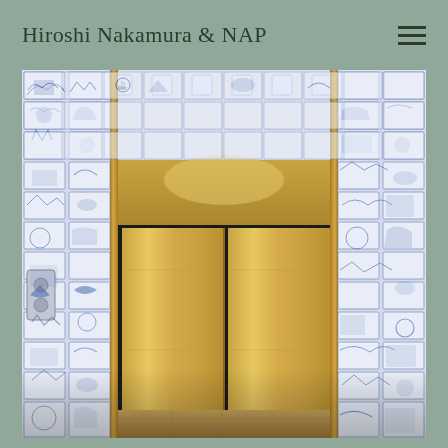Hiroshi Nakamura & NAP
[Figure (photo): Interior photograph of an elevator lobby with blue and white illustrated tile walls covering the ceiling and all surrounding surfaces, featuring historical scenes and figures. A gold/brass-framed elevator door is centered, with warm golden metallic panels. The floor appears to be light wood. Blue and white tiles depict various scenes including architecture, ships, landscapes, and people in a Delft-style illustration pattern.]